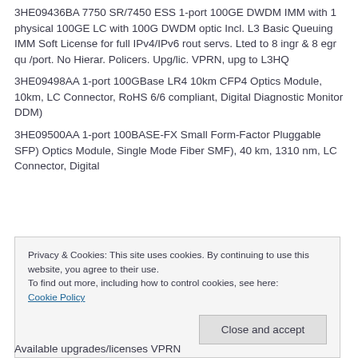3HE09436BA 7750 SR/7450 ESS 1-port 100GE DWDM IMM with 1 physical 100GE LC with 100G DWDM optic Incl. L3 Basic Queuing IMM Soft License for full IPv4/IPv6 rout servs. Lted to 8 ingr & 8 egr qu /port. No Hierar. Policers. Upg/lic. VPRN, upg to L3HQ
3HE09498AA 1-port 100GBase LR4 10km CFP4 Optics Module, 10km, LC Connector, RoHS 6/6 compliant, Digital Diagnostic Monitor DDM)
3HE09500AA 1-port 100BASE-FX Small Form-Factor Pluggable SFP) Optics Module, Single Mode Fiber SMF), 40 km, 1310 nm, LC Connector, Digital
Privacy & Cookies: This site uses cookies. By continuing to use this website, you agree to their use.
To find out more, including how to control cookies, see here:
Cookie Policy
Close and accept
Available upgrades/licenses VPRN